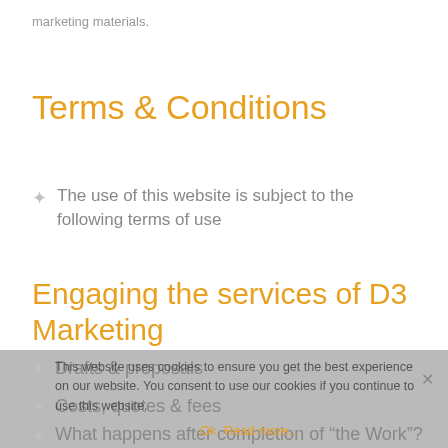marketing materials.
Terms & Conditions
The use of this website is subject to the following terms of use
Engaging the services of D3 Marketing
Drafts & proposals
Costs, quotes & fees
What happens after completion of "the Work"?
This website uses cookies to ensure you get the best experience on our website. You consent to use our cookies if you continue to use this website.
Ok   Read more